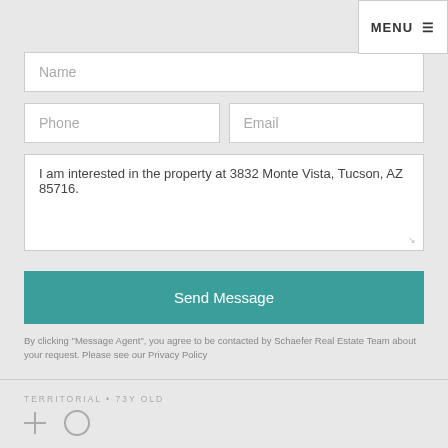MENU ≡
Name
Phone
Email
I am interested in the property at 3832 Monte Vista, Tucson, AZ 85716.
Send Message
By clicking "Message Agent", you agree to be contacted by Schaefer Real Estate Team about your request. Please see our Privacy Policy
TERRITORIAL • 73Y OLD